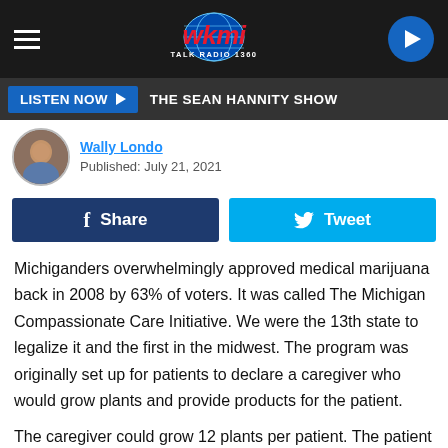WKMI Talk Radio 1360 — hamburger menu, logo, play button
LISTEN NOW ▶  THE SEAN HANNITY SHOW
Wally Londo
Published: July 21, 2021
Share  Tweet
Michiganders overwhelmingly approved medical marijuana back in 2008 by 63% of voters. It was called The Michigan Compassionate Care Initiative. We were the 13th state to legalize it and the first in the midwest. The program was originally set up for patients to declare a caregiver who would grow plants and provide products for the patient.
The caregiver could grow 12 plants per patient. The patient also had the option of not declaring a caregiver and growing or procuring their product elsewhere. No where in the laws